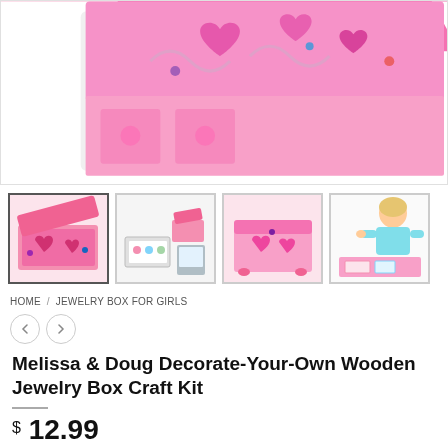[Figure (photo): Close-up of a pink decorated wooden jewelry box with hearts, flowers, and gem stickers on a white background]
[Figure (photo): Thumbnail 1: Pink Minnie Mouse themed jewelry box open showing interior]
[Figure (photo): Thumbnail 2: Craft kit contents laid out including stickers and small box]
[Figure (photo): Thumbnail 3: Closed pink wooden jewelry box with heart decorations]
[Figure (photo): Thumbnail 4: Young girl decorating the jewelry box craft kit]
HOME / JEWELRY BOX FOR GIRLS
Melissa & Doug Decorate-Your-Own Wooden Jewelry Box Craft Kit
$ 12.99